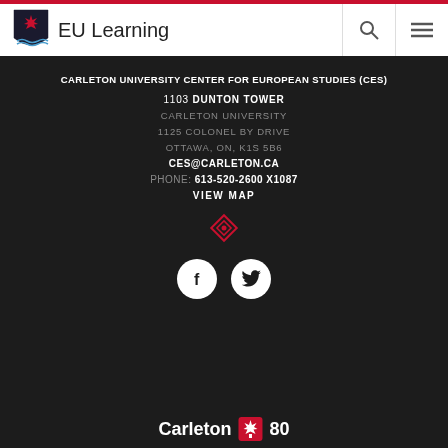EU Learning
CARLETON UNIVERSITY CENTER FOR EUROPEAN STUDIES (CES)
1103 DUNTON TOWER
CARLETON UNIVERSITY
1125 COLONEL BY DRIVE
OTTAWA, ON, K1S 5B6
CES@CARLETON.CA
PHONE: 613-520-2600 X1087
VIEW MAP
[Figure (logo): Diamond/map pin icon in red outline]
[Figure (logo): Facebook and Twitter social media icons in white circles]
[Figure (logo): Carleton University 80th anniversary logo with maple leaf]